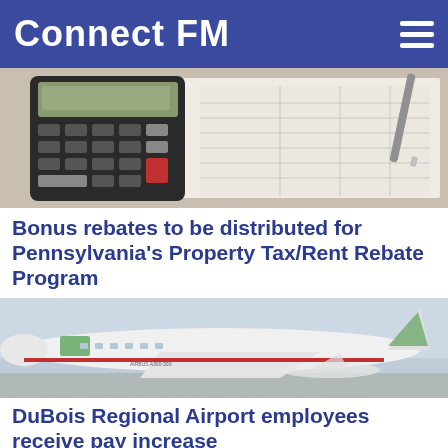Connect FM
[Figure (photo): Calculator and financial spreadsheet documents on a desk]
Bonus rebates to be distributed for Pennsylvania's Property Tax/Rent Rebate Program
[Figure (photo): Airbus A300-300 airplane on tarmac]
DuBois Regional Airport employees receive pay increase
[Figure (photo): Group of people at an indoor gathering or meeting]